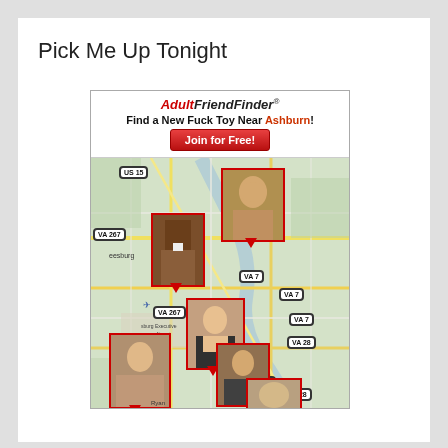Pick Me Up Tonight
[Figure (infographic): AdultFriendFinder advertisement banner showing 'Find a New Fuck Toy Near Ashburn!' with a 'Join for Free!' button, overlaid on a road map of the Ashburn/Leesburg Virginia area with multiple profile photo thumbnails pinned to map locations via red location markers. Road signs visible include US 15, VA 7, VA 267, VA 28. Place names include Leesburg and Leesburg Executive Airport.]